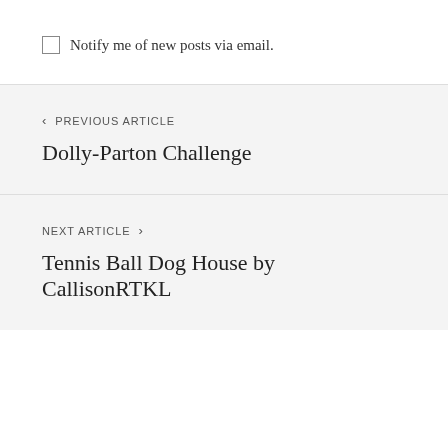Notify me of new posts via email.
< PREVIOUS ARTICLE
Dolly-Parton Challenge
NEXT ARTICLE >
Tennis Ball Dog House by CallisonRTKL